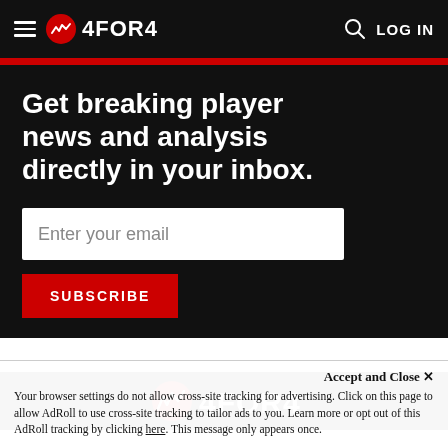4FOR4 — LOG IN
Get breaking player news and analysis directly in your inbox.
Enter your email
SUBSCRIBE
[Figure (logo): 4FOR4 logo in footer]
Accept and Close ✕
Your browser settings do not allow cross-site tracking for advertising. Click on this page to allow AdRoll to use cross-site tracking to tailor ads to you. Learn more or opt out of this AdRoll tracking by clicking here. This message only appears once.